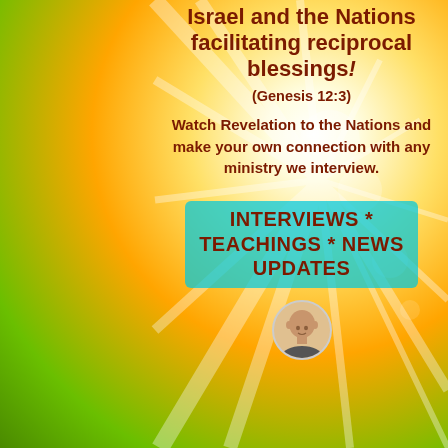Israel and the Nations facilitating reciprocal blessings!
(Genesis 12:3)
Watch Revelation to the Nations and make your own connection with any ministry we interview.
INTERVIEWS * TEACHINGS * NEWS UPDATES
[Figure (photo): Headshot of a bald man at the bottom of the image]